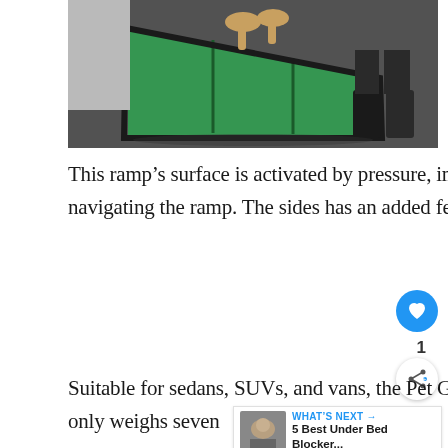[Figure (photo): Dog walking down a green pet ramp leaning against a vehicle, with a person standing nearby wearing boots]
This ramp’s surface is activated by pressure, improving your dog’s grip and preventing slipping when navigating the ramp. The sides has an added feature of raised edge for added security.
Suitable for sedans, SUVs, and vans, the Pet Gear Travel Lite Ramp is folda convenient storage and only weighs seven